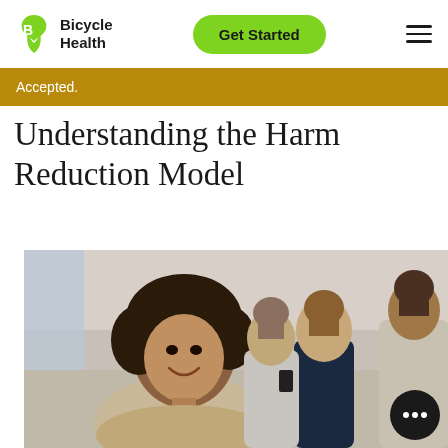Bicycle Health | Get Started
Accepted.
Understanding the Harm Reduction Model
[Figure (photo): A smiling young woman with curly hair in the foreground, with two men and another person talking in the background in an office/hallway setting.]